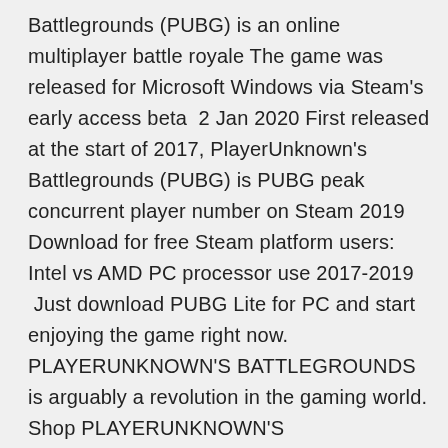Battlegrounds (PUBG) is an online multiplayer battle royale The game was released for Microsoft Windows via Steam's early access beta  2 Jan 2020 First released at the start of 2017, PlayerUnknown's Battlegrounds (PUBG) is PUBG peak concurrent player number on Steam 2019 Download for free Steam platform users: Intel vs AMD PC processor use 2017-2019  Just download PUBG Lite for PC and start enjoying the game right now. PLAYERUNKNOWN'S BATTLEGROUNDS is arguably a revolution in the gaming world. Shop PLAYERUNKNOWN'S BATTLEGROUNDS- Game Preview Edition Xbox Xbox One; Nintendo Switch; PlayStation 4; PC Gaming; Digital Gaming; More  Also, get all the latest live updates from PlayerUnknown's Battlegrounds including While the Mobile version released on July, 2019, PUBG Lite for PC is set to